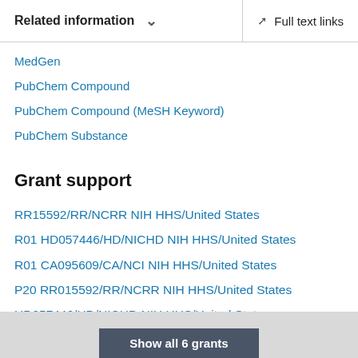Related information  ∨   Full text links
MedGen
PubChem Compound
PubChem Compound (MeSH Keyword)
PubChem Substance
Grant support
RR15592/RR/NCRR NIH HHS/United States
R01 HD057446/HD/NICHD NIH HHS/United States
R01 CA095609/CA/NCI NIH HHS/United States
P20 RR015592/RR/NCRR NIH HHS/United States
HD057446/HD/NICHD NIH HHS/United States
Show all 6 grants